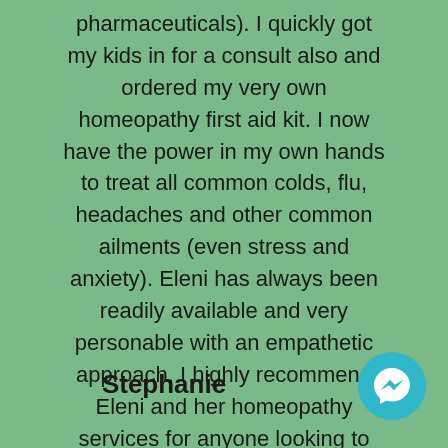pharmaceuticals). I quickly got my kids in for a consult also and ordered my very own homeopathy first aid kit. I now have the power in my own hands to treat all common colds, flu, headaches and other common ailments (even stress and anxiety). Eleni has always been readily available and very personable with an empathetic approach. I highly recommend Eleni and her homeopathy services for anyone looking to help treat themselves and their children without pharmaceuticals.
Stephanie